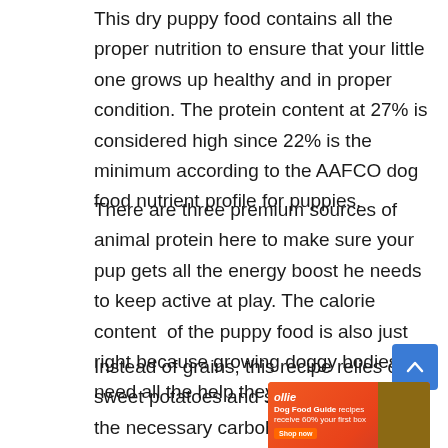This dry puppy food contains all the proper nutrition to ensure that your little one grows up healthy and in proper condition. The protein content at 27% is considered high since 22% is the minimum according to the AAFCO dog food nutrient profile for puppies.
There are three premium sources of animal protein here to make sure your pup gets all the energy boost he needs to keep active at play. The calorie content of the puppy food is also just right because growing doggy bodies need all the help they can get.
Instead of grains, this recipe relies on sweet potatoes and starch to provide the necessary carbohydrate content.
[Figure (other): Advertisement banner for Ollie Dog Food Guide recipes with orange background, shop now button, close button, and food image on right side]